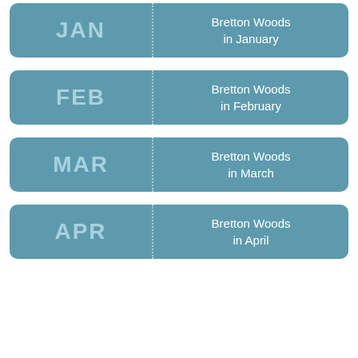JAN | Bretton Woods in January
FEB | Bretton Woods in February
MAR | Bretton Woods in March
APR | Bretton Woods in April